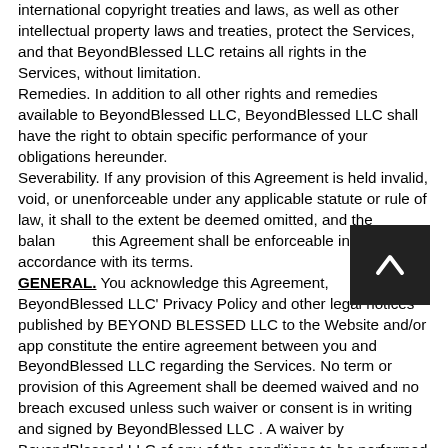ACKNOWLEDGMENT. You acknowledge that international copyright treaties and laws, as well as other intellectual property laws and treaties, protect the Services, and that BeyondBlessed LLC retains all rights in the Services, without limitation. Remedies. In addition to all other rights and remedies available to BeyondBlessed LLC, BeyondBlessed LLC shall have the right to obtain specific performance of your obligations hereunder. Severability. If any provision of this Agreement is held invalid, void, or unenforceable under any applicable statute or rule of law, it shall to the extent be deemed omitted, and the balance of this Agreement shall be enforceable in accordance with its terms. GENERAL. You acknowledge this Agreement, BeyondBlessed LLC' Privacy Policy and other legal notices published by BEYOND BLESSED LLC to the Website and/or app constitute the entire agreement between you and BeyondBlessed LLC regarding the Services. No term or provision of this Agreement shall be deemed waived and no breach excused unless such waiver or consent is in writing and signed by BeyondBlessed LLC . A waiver by BeyondBlessed LLC of any of the conditions to be performed by you hereunder shall not be construed to be a waiver of any succeeding breach thereof. All remedies provided for in this Agreement shall be cumulative, and in addition to, and not in lieu of, any other